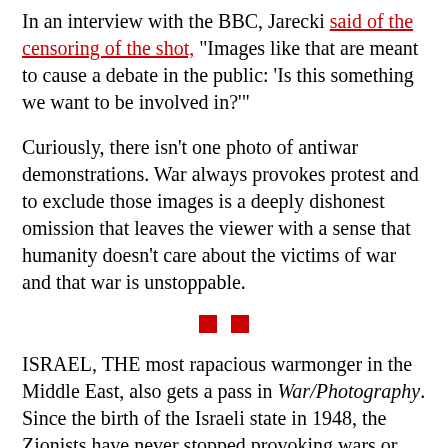In an interview with the BBC, Jarecki said of the censoring of the shot, "Images like that are meant to cause a debate in the public: 'Is this something we want to be involved in?'"
Curiously, there isn't one photo of antiwar demonstrations. War always provokes protest and to exclude those images is a deeply dishonest omission that leaves the viewer with a sense that humanity doesn't care about the victims of war and that war is unstoppable.
[Figure (other): Two small red squares used as a section separator/divider]
ISRAEL, THE most rapacious warmonger in the Middle East, also gets a pass in War/Photography. Since the birth of the Israeli state in 1948, the Zionists have never stopped provoking wars or invading Arab countries, nor has it stopped killing Palestinians. But from the one-sided presentation of prints of this conflict, the viewer wouldn't know that.